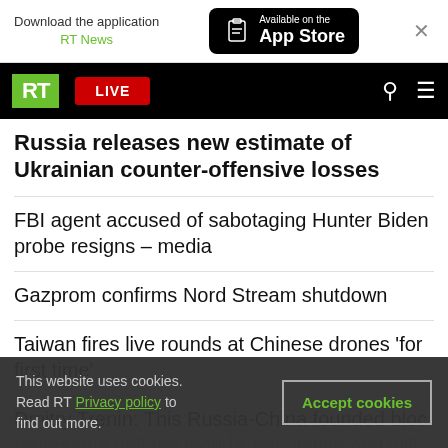[Figure (screenshot): App Store download banner with RT News label, Available on the App Store button, and close X button]
[Figure (screenshot): RT news website navigation bar with RT logo (green), LIVE red button, search icon, and hamburger menu icon]
Russia releases new estimate of Ukrainian counter-offensive losses
FBI agent accused of sabotaging Hunter Biden probe resigns – media
Gazprom confirms Nord Stream shutdown
Taiwan fires live rounds at Chinese drones 'for first time'
Dmitry Trenin: This Russia-China founded bloc represents half the world's population and will hel…
This website uses cookies. Read RT Privacy policy to find out more.
Accept cookies